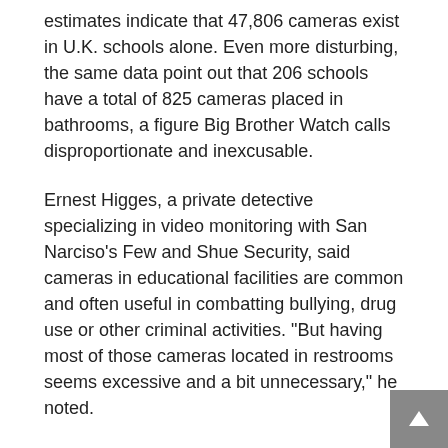estimates indicate that 47,806 cameras exist in U.K. schools alone. Even more disturbing, the same data point out that 206 schools have a total of 825 cameras placed in bathrooms, a figure Big Brother Watch calls disproportionate and inexcusable.
Ernest Higges, a private detective specializing in video monitoring with San Narciso's Few and Shue Security, said cameras in educational facilities are common and often useful in combatting bullying, drug use or other criminal activities. "But having most of those cameras located in restrooms seems excessive and a bit unnecessary," he noted.
British officials disagree.
Myfanawy Tittensor, representing the Department for Education, explained that British security protocols are less intrusive and austere than those in the American public education system.
"British high schools aren't beset by the deadly gunplay seen in the United States, where TSA-style metal